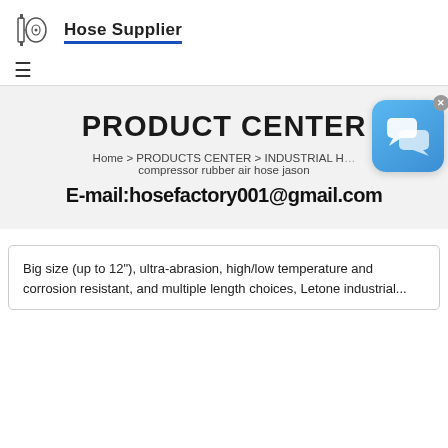Hose Supplier
PRODUCT CENTER
Home > PRODUCTS CENTER > INDUSTRIAL H... compressor rubber air hose jason
E-mail:hosefactory001@gmail.com
Big size (up to 12"), ultra-abrasion, high/low temperature and corrosion resistant, and multiple length choices, Letone industrial...